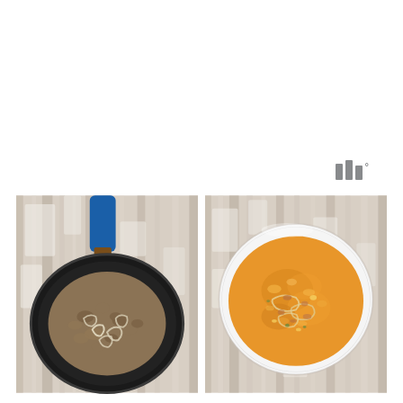[Figure (logo): Three vertical gray bars of varying heights with a degree symbol, forming a logo mark]
[Figure (photo): Overhead view of a black skillet with a blue handle containing cooked ground meat and sliced onions on a white weathered wood surface]
[Figure (photo): Overhead view of a white bowl containing a golden-orange soup with ground meat, onions, corn and other vegetables on a white weathered wood surface]